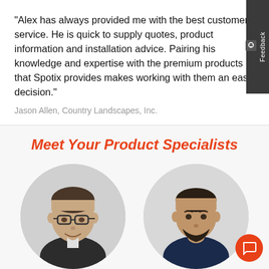"Alex has always provided me with the best customer service. He is quick to supply quotes, product information and installation advice. Pairing his knowledge and expertise with the premium products that Spotix provides makes working with them an easy decision."
Jason Allen, Country Landscapes, Inc.
Meet Your Product Specialists
[Figure (photo): Circular portrait photo of a man with glasses wearing a dark polo shirt, smiling]
[Figure (photo): Circular portrait photo of a man with a beard wearing a dark shirt, smiling]